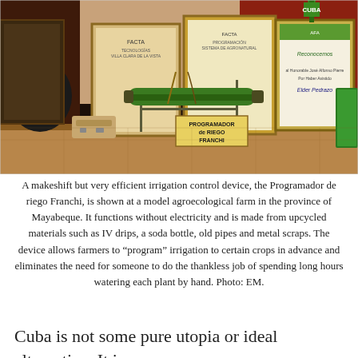[Figure (photo): A makeshift irrigation control device called the Programador de Riego Franchi displayed on a table with framed certificates/awards in the background. The device is a green cylindrical pipe mounted on a metal frame. A sign on the device reads 'PROGRAMADOR de RIEGO FRANCHI'. The setting appears to be an agroecological farm office in Cuba.]
A makeshift but very efficient irrigation control device, the Programador de riego Franchi, is shown at a model agroecological farm in the province of Mayabeque. It functions without electricity and is made from upcycled materials such as IV drips, a soda bottle, old pipes and metal scraps. The device allows farmers to “program” irrigation to certain crops in advance and eliminates the need for someone to do the thankless job of spending long hours watering each plant by hand. Photo: EM.
Cuba is not some pure utopia or ideal alternative. It is a complicated place. It is also a destination in